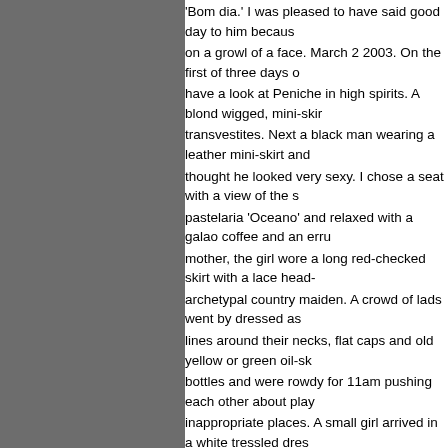'Bom dia.' I was pleased to have said good day to him because on a growl of a face. March 2 2003. On the first of three days o have a look at Peniche in high spirits. A blond wigged, mini-skir transvestites. Next a black man wearing a leather mini-skirt and thought he looked very sexy. I chose a seat with a view of the s pastelaria 'Oceano' and relaxed with a galao coffee and an erru mother, the girl wore a long red-checked skirt with a lace head- archetypal country maiden. A crowd of lads went by dressed as lines around their necks, flat caps and old yellow or green oil-sk bottles and were rowdy for 11am pushing each other about play inappropriate places. A small girl arrived in a white tressled dres silver conical fairy tale princess hat with a swathe of pink mater suit sat driving a red fun ride jeep, which had not been activated dressed in a milkmaid outfit with a long dress in a rural check, b A small, olive-skinned boy offered me a tired looking box of Elas buy it. I said no thank you into his sad little eyes and he skimme terrace and sold nothing. Outside the guy in blond wig and shor mates who had left the Pastelaria Presidente. Beer bottled mer lipstick smeared mouths, making drunken sounds. The blond-w the road, still looking around for his crowd, looking furtively abo trees, near the public toilets, eyeing the cover afforded by thick float drove by pulled by a flat bed Nissan. It had a central palm several people sat on chairs taking refreshments. A band playe brass instruments rather similar to my own Ramponi silver plate had broken through a four day cloud bank and I felt excited tha